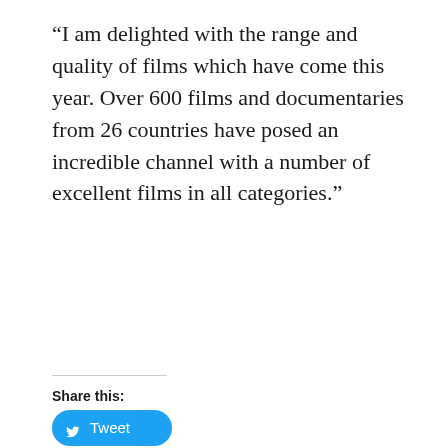“I am delighted with the range and quality of films which have come this year. Over 600 films and documentaries from 26 countries have posed an incredible channel with a number of excellent films in all categories.”
Share this:
Tweet
Like this:
Loading...